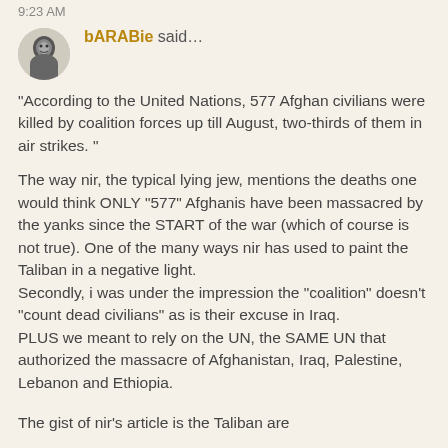9:23 AM
[Figure (photo): Black and white avatar photo of a young child]
bARABie said...
"According to the United Nations, 577 Afghan civilians were killed by coalition forces up till August, two-thirds of them in air strikes. "
The way nir, the typical lying jew, mentions the deaths one would think ONLY "577" Afghanis have been massacred by the yanks since the START of the war (which of course is not true). One of the many ways nir has used to paint the Taliban in a negative light.
Secondly, i was under the impression the "coalition" doesn't "count dead civilians" as is their excuse in Iraq.
PLUS we meant to rely on the UN, the SAME UN that authorized the massacre of Afghanistan, Iraq, Palestine, Lebanon and Ethiopia.
The gist of nir's article is the Taliban are